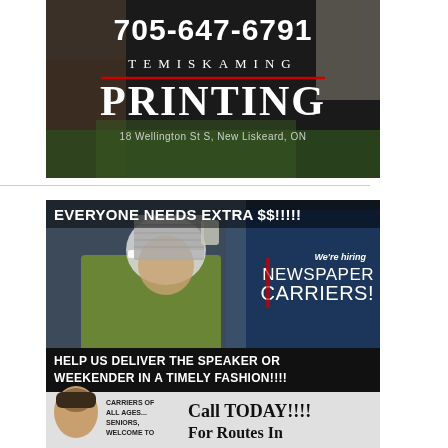[Figure (advertisement): Temiskaming Printing advertisement with dark background, phone number 705-647-6791, company name TEMISKAMING PRINTING with red underline, address 18 Wellington St S, New Liskeard, ON, with green foliage visible at bottom]
[Figure (advertisement): Newspaper carrier hiring advertisement. Top section shows worker in hard hat and yellow-green vest carrying newspapers. Text: EVERYONE NEEDS EXTRA $$!!!!! We're hiring NEWSPAPER CARRIERS! HELP US DELIVER THE SPEAKER OR WEEKENDER IN A TIMELY FASHION!!!! Bottom strip: CARRIERS OF ALL AGES... SENIORS, WELCOME TO / Call TODAY!!!! For Routes In]